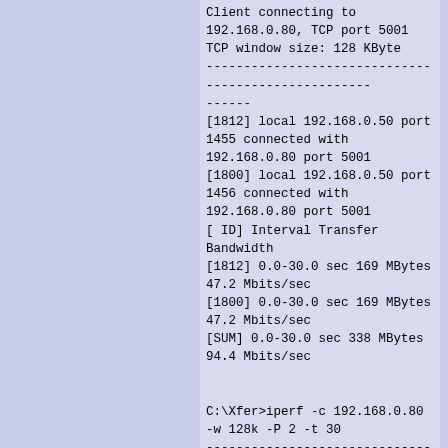Client connecting to 192.168.0.80, TCP port 5001
TCP window size: 128 KByte
------------------------------------------------------------
[1812] local 192.168.0.50 port 1455 connected with 192.168.0.80 port 5001
[1800] local 192.168.0.50 port 1456 connected with 192.168.0.80 port 5001
[ ID] Interval Transfer Bandwidth
[1812] 0.0-30.0 sec 169 MBytes 47.2 Mbits/sec
[1800] 0.0-30.0 sec 169 MBytes 47.2 Mbits/sec
[SUM] 0.0-30.0 sec 338 MBytes 94.4 Mbits/sec


C:\Xfer>iperf -c 192.168.0.80 -w 128k -P 2 -t 30
------------------------------------------------------------
Client connecting to 192.168.0.80, TCP port 5001
TCP window size: 128 KByte
------------------------------------------------------------
[1800] local 192.168.0.50 port 1463 connected with 192.168.0.80 port 5001
[1812] local 192.168.0.50 port 1462